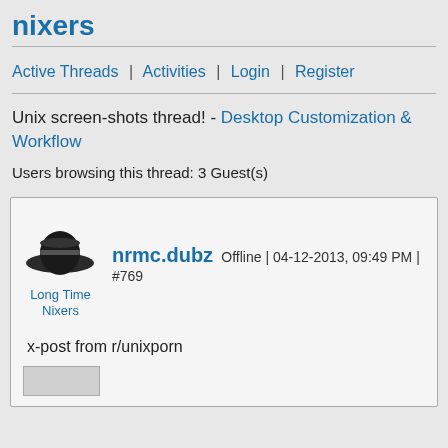nixers
Active Threads | Activities | Login | Register
Unix screen-shots thread! - Desktop Customization & Workflow
Users browsing this thread: 3 Guest(s)
nrmc.dubz Offline | 04-12-2013, 09:49 PM | #769
Long Time Nixers
x-post from r/unixporn